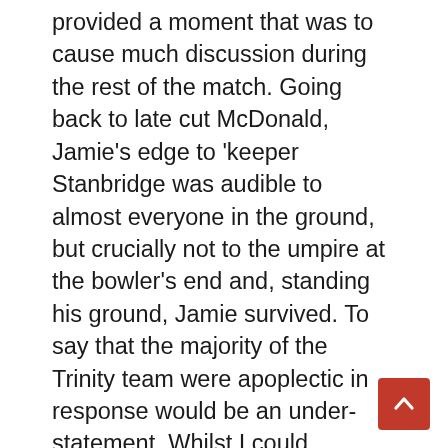provided a moment that was to cause much discussion during the rest of the match. Going back to late cut McDonald, Jamie's edge to 'keeper Stanbridge was audible to almost everyone in the ground, but crucially not to the umpire at the bowler's end and, standing his ground, Jamie survived. To say that the majority of the Trinity team were apoplectic in response would be an under-statement. Whilst I could understand their annoyance, it was disappointing to hear numerous uses of the word "cheat" in the remainder of our innings and, apparently, even at the end of the match. The home side's sense of injustice was heightened by Jamie reaching a fluent 51 not out, many runs being scored to third man, the short straight boundaries much to Jamie's liking, and a second six, over mid-off, being struck in the latter